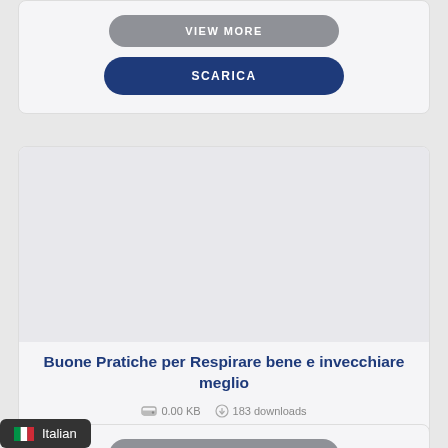VIEW MORE
SCARICA
Buone Pratiche per Respirare bene e invecchiare meglio
0.00 KB   183 downloads
VIEW MORE
SCARICA
Italian